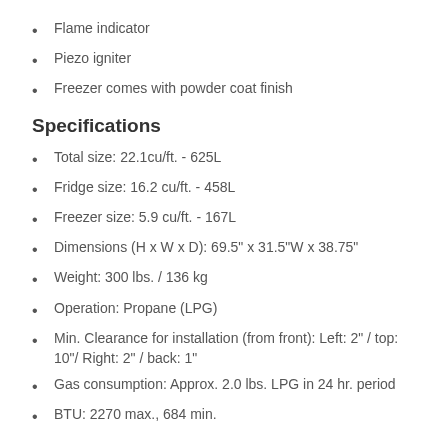Flame indicator
Piezo igniter
Freezer comes with powder coat finish
Specifications
Total size: 22.1cu/ft. - 625L
Fridge size: 16.2 cu/ft. - 458L
Freezer size: 5.9 cu/ft. - 167L
Dimensions (H x W x D): 69.5" x 31.5"W x 38.75"
Weight: 300 lbs. / 136 kg
Operation: Propane (LPG)
Min. Clearance for installation (from front): Left: 2" / top: 10"/ Right: 2" / back: 1"
Gas consumption: Approx. 2.0 lbs. LPG in 24 hr. period
BTU: 2270 max., 684 min.
Model Number: